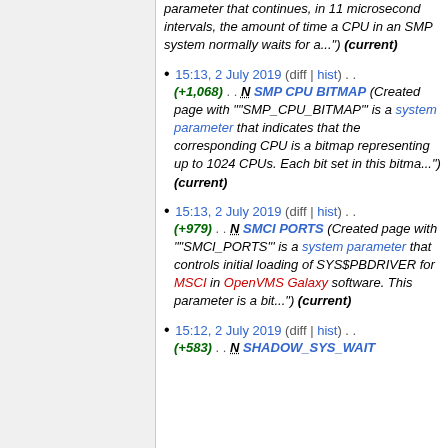parameter that continues, in 11 microsecond intervals, the amount of time a CPU in an SMP system normally waits for a...") (current)
15:13, 2 July 2019 (diff | hist) . . (+1,068) . . N SMP CPU BITMAP (Created page with """SMP_CPU_BITMAP"' is a system parameter that indicates that the corresponding CPU is a bitmap representing up to 1024 CPUs. Each bit set in this bitma...") (current)
15:13, 2 July 2019 (diff | hist) . . (+979) . . N SMCI PORTS (Created page with """SMCI_PORTS"' is a system parameter that controls initial loading of SYS$PBDRIVER for MSCI in OpenVMS Galaxy software. This parameter is a bit...") (current)
15:12, 2 July 2019 (diff | hist) . . (+583) . . N SHADOW_SYS_WAIT